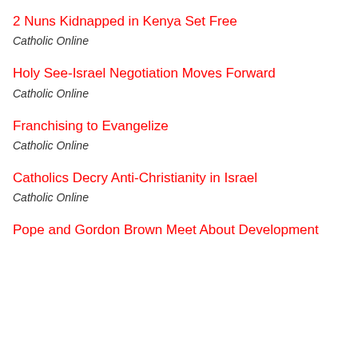2 Nuns Kidnapped in Kenya Set Free
Catholic Online
Holy See-Israel Negotiation Moves Forward
Catholic Online
Franchising to Evangelize
Catholic Online
Catholics Decry Anti-Christianity in Israel
Catholic Online
Pope and Gordon Brown Meet About Development